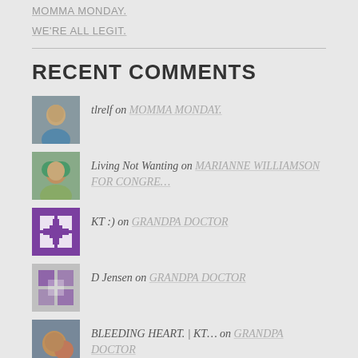MOMMA MONDAY.
WE'RE ALL LEGIT.
RECENT COMMENTS
tlrelf on MOMMA MONDAY.
Living Not Wanting on MARIANNE WILLIAMSON FOR CONGRE…
KT :) on GRANDPA DOCTOR
D Jensen on GRANDPA DOCTOR
BLEEDING HEART. | KT… on GRANDPA DOCTOR
KT :) on WE'RE ALL LEGIT.